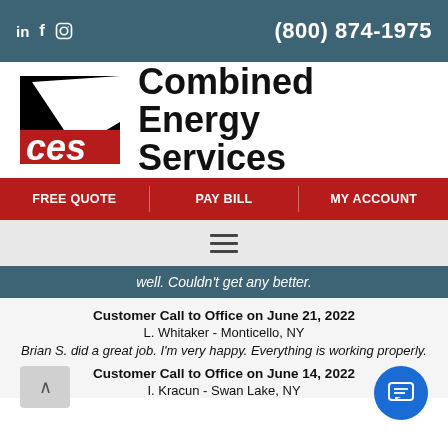in f ☺  (800) 874-1975
[Figure (logo): Combined Energy Services logo with CES initials in a black triangle with red 'ces' text, and 'Combined Energy Services' company name in bold black text]
FREE QUOTE   PAY BILL   MY ACCOUNT
well. Couldn't get any better.
Customer Call to Office on June 21, 2022
L. Whitaker - Monticello, NY
Brian S. did a great job. I'm very happy. Everything is working properly.
Customer Call to Office on June 14, 2022
I. Kracun - Swan Lake, NY